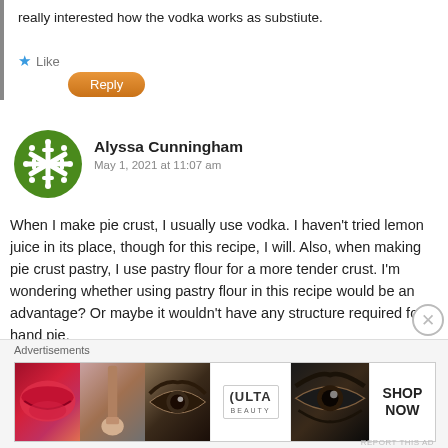really interested how the vodka works as substiute.
Like
Reply
Alyssa Cunningham
May 1, 2021 at 11:07 am
When I make pie crust, I usually use vodka. I haven't tried lemon juice in its place, though for this recipe, I will. Also, when making pie crust pastry, I use pastry flour for a more tender crust. I'm wondering whether using pastry flour in this recipe would be an advantage? Or maybe it wouldn't have any structure required for a hand pie.
[Figure (other): Close/dismiss button (circle with X)]
Advertisements
[Figure (other): Ulta Beauty advertisement banner with beauty/makeup images and Shop Now text]